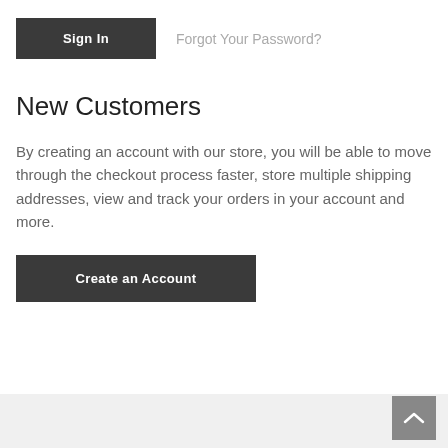Sign In
Forgot Your Password?
New Customers
By creating an account with our store, you will be able to move through the checkout process faster, store multiple shipping addresses, view and track your orders in your account and more.
Create an Account